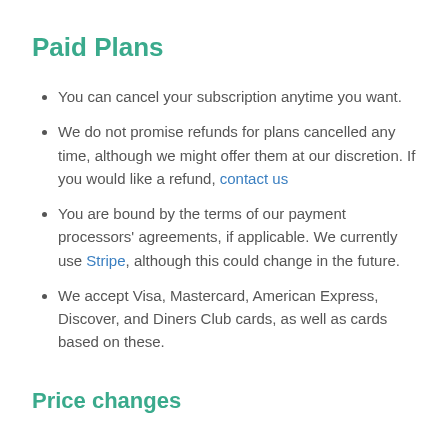Paid Plans
You can cancel your subscription anytime you want.
We do not promise refunds for plans cancelled any time, although we might offer them at our discretion. If you would like a refund, contact us
You are bound by the terms of our payment processors' agreements, if applicable. We currently use Stripe, although this could change in the future.
We accept Visa, Mastercard, American Express, Discover, and Diners Club cards, as well as cards based on these.
Price changes